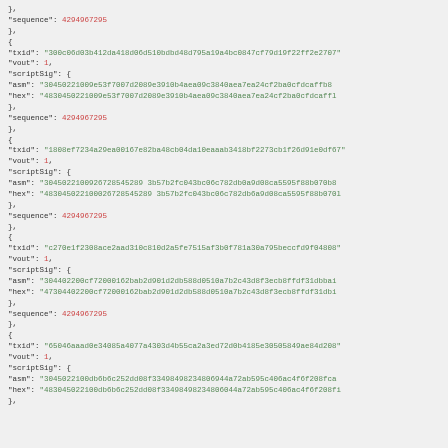JSON/code block showing blockchain transaction input data with txid, vout, scriptSig (asm and hex), and sequence fields for multiple transaction inputs